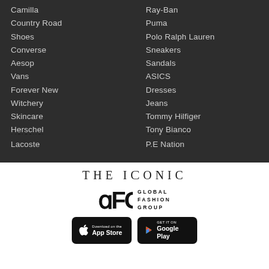Camilla
Country Road
Shoes
Converse
Aesop
Vans
Forever New
Witchery
Skincare
Herschel
Lacoste
Ray-Ban
Puma
Polo Ralph Lauren
Sneakers
Sandals
ASICS
Dresses
Jeans
Tommy Hilfiger
Tony Bianco
P.E Nation
[Figure (logo): THE ICONIC logo in serif lettering with wide letter-spacing]
[Figure (logo): GFG Global Fashion Group logo with stylized GFG monogram]
[Figure (screenshot): Download on the App Store button (black)]
[Figure (screenshot): GET IT ON Google Play button (black)]